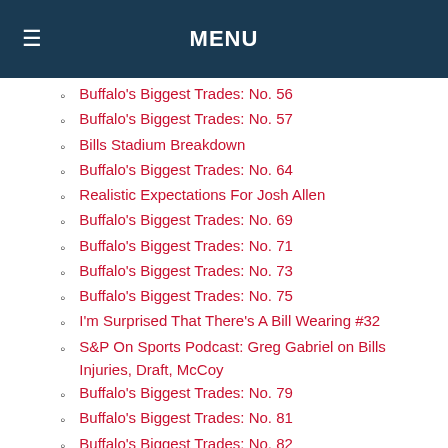MENU
Buffalo's Biggest Trades: No. 56
Buffalo's Biggest Trades: No. 57
Bills Stadium Breakdown
Buffalo's Biggest Trades: No. 64
Realistic Expectations For Josh Allen
Buffalo's Biggest Trades: No. 69
Buffalo's Biggest Trades: No. 71
Buffalo's Biggest Trades: No. 73
Buffalo's Biggest Trades: No. 75
I'm Surprised That There's A Bill Wearing #32
S&P On Sports Podcast: Greg Gabriel on Bills Injuries, Draft, McCoy
Buffalo's Biggest Trades: No. 79
Buffalo's Biggest Trades: No. 81
Buffalo's Biggest Trades: No. 82
Buffalo's Biggest Trades: No. 83